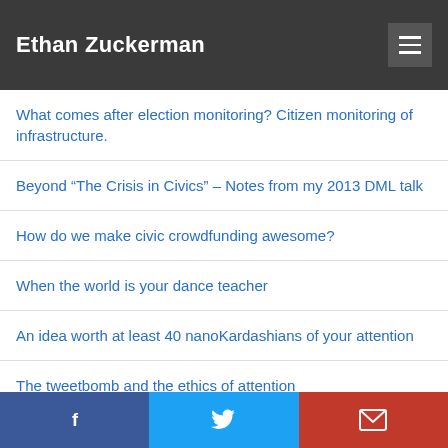Ethan Zuckerman
What comes after election monitoring? Citizen monitoring of infrastructure.
Beyond “The Crisis in Civics” – Notes from my 2013 DML talk
How do we make civic crowdfunding awesome?
When the world is your dance teacher
An idea worth at least 40 nanoKardashians of your attention
The tweetbomb and the ethics of attention